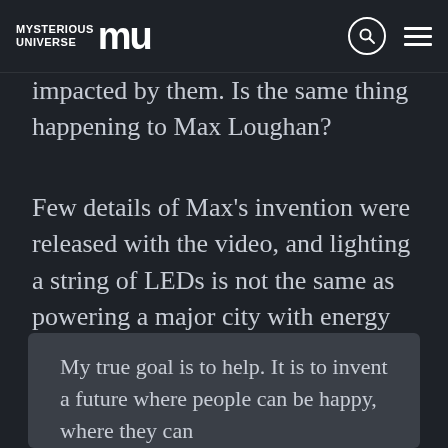Mysterious Universe MU [logo with search and menu icons]
believed to have been suppressed by those who could be negatively impacted by them. Is the same thing happening to Max Loughan?
Few details of Max's invention were released with the video, and lighting a string of LEDs is not the same as powering a major city with energy pulled from the air. However, it's a spark and, like Telsa's ideas and creations, it can light a fire in other young inventors who feel the same way as Max:
My true goal is to help. It is to invent a future where people can be happy, where they can